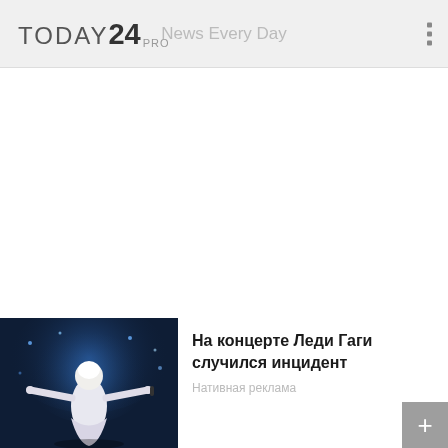TODAY24 PRO — News Every Day
[Figure (photo): Screenshot of Today24 Pro news app showing a blank white content area and a news card at the bottom with a photo of Lady Gaga performing on stage in a white outfit with arms outstretched, blue stage lighting]
На концерте Леди Гаги случился инцидент
Нативная реклама